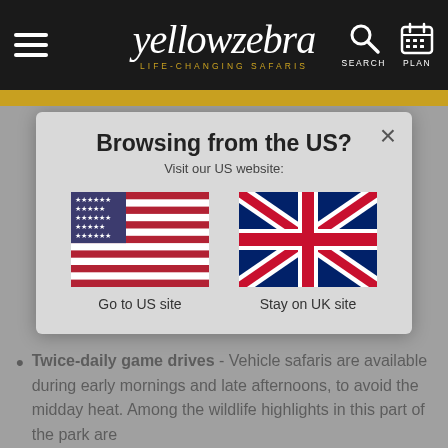[Figure (screenshot): Yellow Zebra website header with hamburger menu, logo 'yellowzebra LIFE-CHANGING SAFARIS', search and plan icons]
[Figure (screenshot): Modal dialog: 'Browsing from the US? Visit our US website:' with US flag option 'Go to US site' and UK flag option 'Stay on UK site', with X close button]
Twice-daily game drives - Vehicle safaris are available during early mornings and late afternoons, to avoid the midday heat. Among the wildlife highlights in this part of the park are